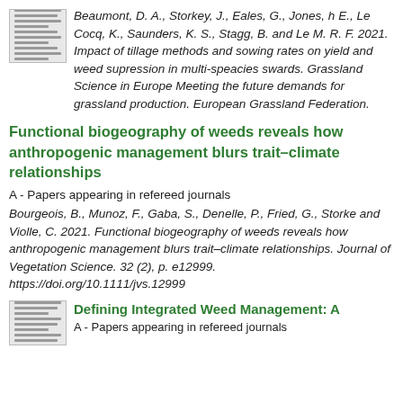[Figure (other): Thumbnail image of a document/paper]
Beaumont, D. A., Storkey, J., Eales, G., Jones, h E., Le Cocq, K., Saunders, K. S., Stagg, B. and Le M. R. F. 2021. Impact of tillage methods and sowing rates on yield and weed supression in multi-speacies swards. Grassland Science in Europe Meeting the future demands for grassland production. European Grassland Federation.
Functional biogeography of weeds reveals how anthropogenic management blurs trait–climate relationships
A - Papers appearing in refereed journals
Bourgeois, B., Munoz, F., Gaba, S., Denelle, P., Fried, G., Storke and Violle, C. 2021. Functional biogeography of weeds reveals how anthropogenic management blurs trait–climate relationships. Journal of Vegetation Science. 32 (2), p. e12999. https://doi.org/10.1111/jvs.12999
[Figure (other): Thumbnail image of a document/paper]
Defining Integrated Weed Management: A
A - Papers appearing in refereed journals